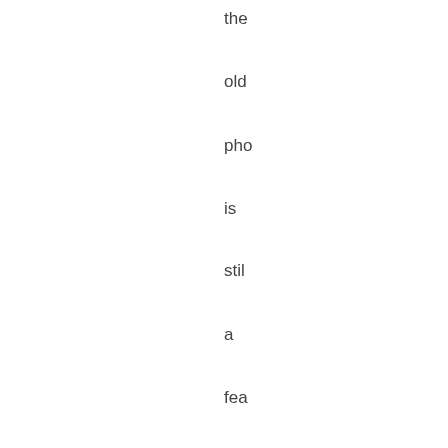the old pho is stil a fea An for sor wh jus ne ba cor (sa a